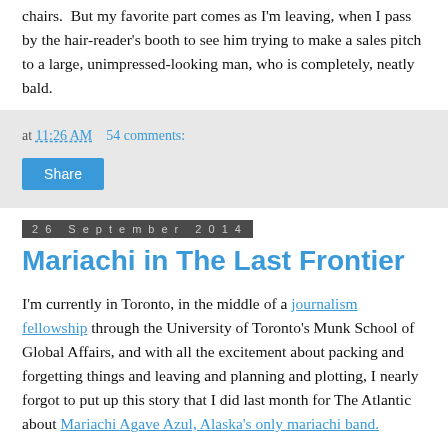chairs.  But my favorite part comes as I'm leaving, when I pass by the hair-reader's booth to see him trying to make a sales pitch to a large, unimpressed-looking man, who is completely, neatly bald.
at 11:26 AM   54 comments:
Share
26 September 2014
Mariachi in The Last Frontier
I'm currently in Toronto, in the middle of a journalism fellowship through the University of Toronto's Munk School of Global Affairs, and with all the excitement about packing and forgetting things and leaving and planning and plotting, I nearly forgot to put up this story that I did last month for The Atlantic about Mariachi Agave Azul, Alaska's only mariachi band.
They're such a fun group, and it's such a cool story.  Alaska